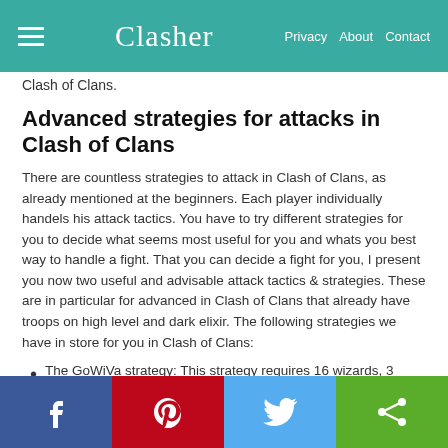Clasher | Privacy  About  Contact
Clash of Clans.
Advanced strategies for attacks in Clash of Clans
There are countless strategies to attack in Clash of Clans, as already mentioned at the beginners. Each player individually handels his attack tactics. You have to try different strategies for you to decide what seems most useful for you and whats you best way to handle a fight. That you can decide a fight for you, I present you now two useful and advisable attack tactics & strategies. These are in particular for advanced in Clash of Clans that already have troops on high level and dark elixir. The following strategies we have in store for you in Clash of Clans:
The GoWiVa strategy: This strategy requires 16 wizards, 3 golems, 7 valkyries and 5 wall breaker, the number of troops can differ. The barbarian king and if available the archers Queen you should pick in the Clash of Clans fight. If you
f  (pinterest)  (twitter)  (share)